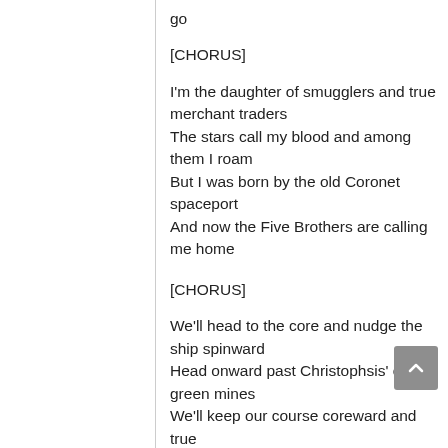go
[CHORUS]
I'm the daughter of smugglers and true merchant traders
The stars call my blood and among them I roam
But I was born by the old Coronet spaceport
And now the Five Brothers are calling me home
[CHORUS]
We'll head to the core and nudge the ship spinward
Head onward past Christophsis' crystal green mines
We'll keep our course coreward and true